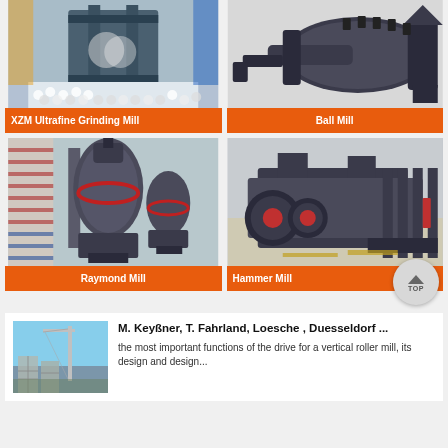[Figure (photo): XZM Ultrafine Grinding Mill machine in industrial setting with white balls]
XZM Ultrafine Grinding Mill
[Figure (photo): Ball Mill machine, dark grey industrial equipment]
Ball Mill
[Figure (photo): Raymond Mill vertical grinding mill in factory]
Raymond Mill
[Figure (photo): Hammer Mill industrial crusher machine in factory]
Hammer Mill
[Figure (photo): Construction site with crane and buildings under construction]
M. Keyßner, T. Fahrland, Loesche , Duesseldorf ...
the most important functions of the drive for a vertical roller mill, its design and design...